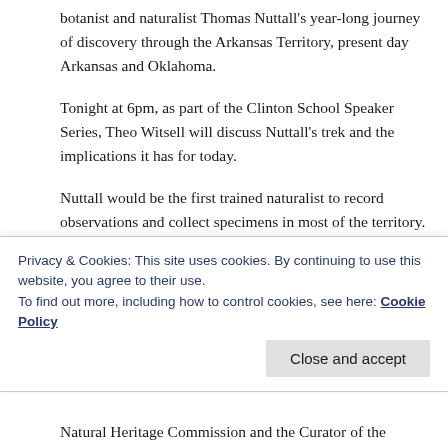botanist and naturalist Thomas Nuttall's year-long journey of discovery through the Arkansas Territory, present day Arkansas and Oklahoma.
Tonight at 6pm, as part of the Clinton School Speaker Series, Theo Witsell will discuss Nuttall's trek and the implications it has for today.
Nuttall would be the first trained naturalist to record observations and collect specimens in most of the territory. His first-hand account of this trip, later published as “A Journal of Travels into the Arkansas Territory in the Year 1819,” provides some of the earliest reliable information on the natural history of the region. These observations and his surviving botanical specimens are
Privacy & Cookies: This site uses cookies. By continuing to use this website, you agree to their use.
To find out more, including how to control cookies, see here: Cookie Policy
Close and accept
Natural Heritage Commission and the Curator of the